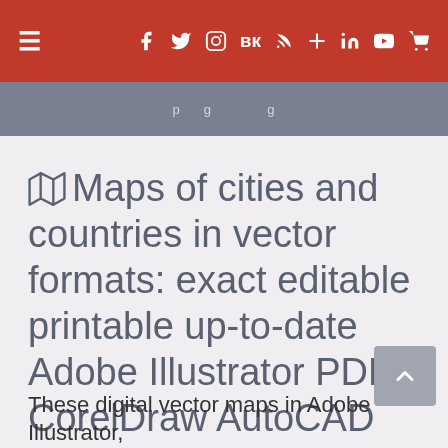≡ (social icons: Facebook, Twitter, Instagram, VK, RSS, Cross, LinkedIn, YouTube, Cart)
🗺 Maps of cities and countries in vector formats: exact editable printable up-to-date Adobe Illustrator PDF CorelDraw AutoCAD Map Clipart for Design and Printing Digital Cartography
These digital vector maps in Adobe Illustrator,